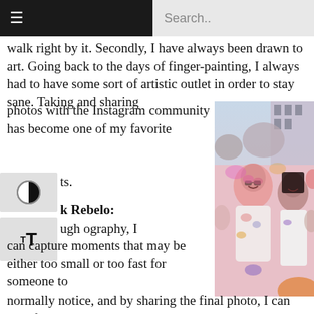≡  Search..
walk right by it. Secondly, I have always been drawn to art. Going back to the days of finger-painting, I always had to have some sort of artistic outlet in order to stay sane. Taking and sharing photos with the Instagram community has become one of my favorite ts.
[Figure (photo): Group of young women covered in colorful powder paint at what appears to be a Holi festival celebration on a college campus. The central figure is a smiling woman with glasses covered in pink/red powder.]
k Rebelo: ugh ography, I can capture moments that may be either too small or too fast for someone to normally notice, and by sharing the final photo, I can hopefully
normally notice, and by sharing the final photo, I can hopefully